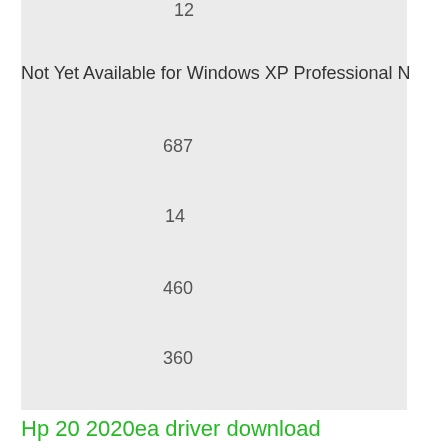12
Not Yet Available for Windows XP Professional N
687
14
460
360
Hp 20 2020ea driver download